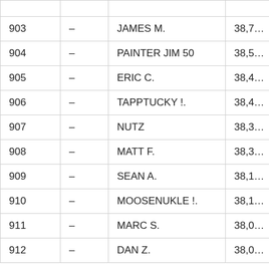| # |  | Name | Score |
| --- | --- | --- | --- |
| 903 | – | JAMES M. | 38,7… |
| 904 | – | PAINTER JIM 50 | 38,5… |
| 905 | – | ERIC C. | 38,4… |
| 906 | – | TAPPTUCKY !. | 38,4… |
| 907 | – | NUTZ | 38,3… |
| 908 | – | MATT F. | 38,3… |
| 909 | – | SEAN A. | 38,1… |
| 910 | – | MOOSENUKLE !. | 38,1… |
| 911 | – | MARC S. | 38,0… |
| 912 | – | DAN Z. | 38,0… |